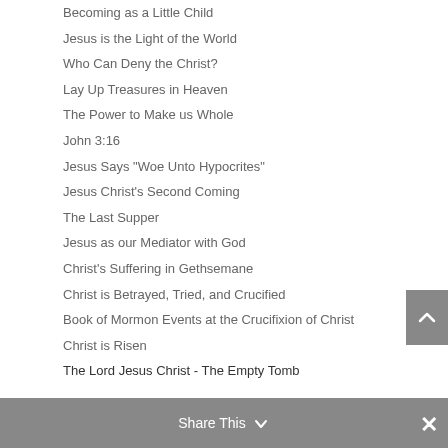Becoming as a Little Child
Jesus is the Light of the World
Who Can Deny the Christ?
Lay Up Treasures in Heaven
The Power to Make us Whole
John 3:16
Jesus Says "Woe Unto Hypocrites"
Jesus Christ's Second Coming
The Last Supper
Jesus as our Mediator with God
Christ's Suffering in Gethsemane
Christ is Betrayed, Tried, and Crucified
Book of Mormon Events at the Crucifixion of Christ
Christ is Risen
The Lord Jesus Christ - The Empty Tomb
Share This